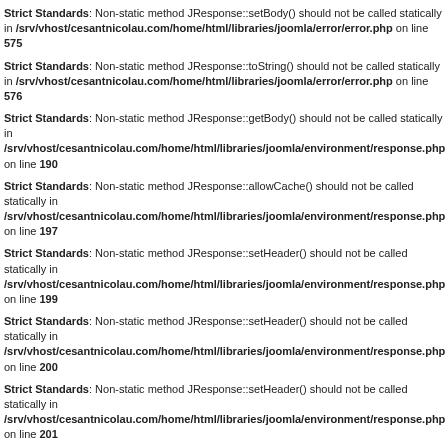Strict Standards: Non-static method JResponse::setBody() should not be called statically in /srv/vhost/cesantnicolau.com/home/html/libraries/joomla/error/error.php on line 575
Strict Standards: Non-static method JResponse::toString() should not be called statically in /srv/vhost/cesantnicolau.com/home/html/libraries/joomla/error/error.php on line 576
Strict Standards: Non-static method JResponse::getBody() should not be called statically in /srv/vhost/cesantnicolau.com/home/html/libraries/joomla/environment/response.php on line 190
Strict Standards: Non-static method JResponse::allowCache() should not be called statically in /srv/vhost/cesantnicolau.com/home/html/libraries/joomla/environment/response.php on line 197
Strict Standards: Non-static method JResponse::setHeader() should not be called statically in /srv/vhost/cesantnicolau.com/home/html/libraries/joomla/environment/response.php on line 199
Strict Standards: Non-static method JResponse::setHeader() should not be called statically in /srv/vhost/cesantnicolau.com/home/html/libraries/joomla/environment/response.php on line 200
Strict Standards: Non-static method JResponse::setHeader() should not be called statically in /srv/vhost/cesantnicolau.com/home/html/libraries/joomla/environment/response.php on line 201
Strict Standards: Non-static method JResponse::setHeader() should not be called statically in /srv/vhost/cesantnicolau.com/home/html/libraries/joomla/environment/response.php on line 202
Strict Standards: Non-static method JResponse::setHeader() should not be called